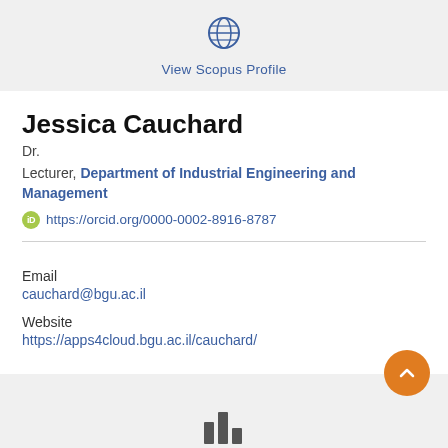[Figure (logo): Globe icon for Scopus profile link]
View Scopus Profile
Jessica Cauchard
Dr.
Lecturer, Department of Industrial Engineering and Management
https://orcid.org/0000-0002-8916-8787
Email
cauchard@bgu.ac.il
Website
https://apps4cloud.bgu.ac.il/cauchard/
[Figure (illustration): Bar chart icon at bottom center]
[Figure (illustration): Orange back-to-top button with upward chevron]